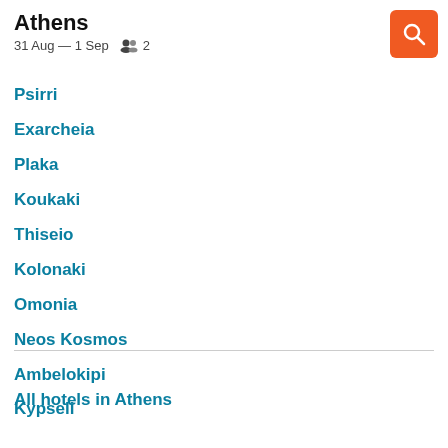Athens
31 Aug — 1 Sep   👥 2
Psirri
Exarcheia
Plaka
Koukaki
Thiseio
Kolonaki
Omonia
Neos Kosmos
Ambelokipi
Kypseli
All hotels in Athens